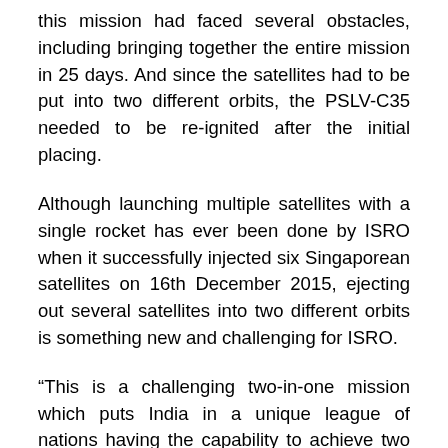this mission had faced several obstacles, including bringing together the entire mission in 25 days. And since the satellites had to be put into two different orbits, the PSLV-C35 needed to be re-ignited after the initial placing.
Although launching multiple satellites with a single rocket has ever been done by ISRO when it successfully injected six Singaporean satellites on 16th December 2015, ejecting out several satellites into two different orbits is something new and challenging for ISRO.
“This is a challenging two-in-one mission which puts India in a unique league of nations having the capability to achieve two different orbits in a single mission,” said ISRO Chairman, AS Kiran Kumar.
This mission will function for around 5 years.
Until today, India has launched 70 satellites for